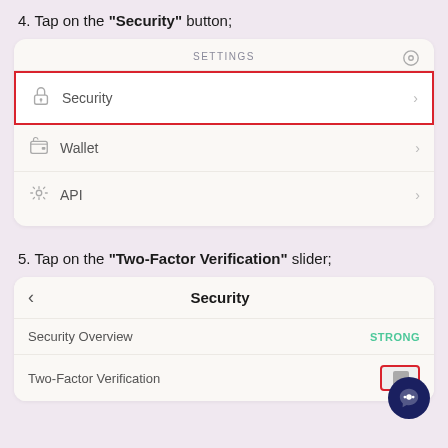4. Tap on the "Security" button;
[Figure (screenshot): Mobile app Settings screen showing Security, Wallet, and API menu items. The Security row is highlighted with a red border.]
5. Tap on the "Two-Factor Verification" slider;
[Figure (screenshot): Mobile app Security screen showing Security Overview (STRONG) and Two-Factor Verification rows. A chat bubble icon and a red-bordered toggle are visible.]